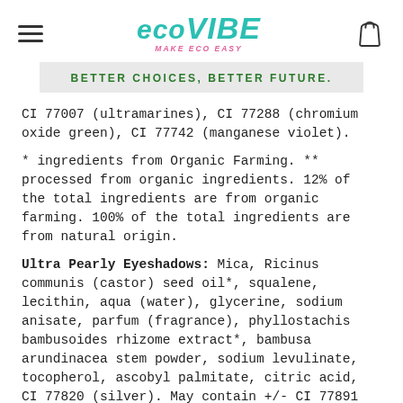EcoVibe — MAKE ECO EASY
BETTER CHOICES, BETTER FUTURE.
CI 77007 (ultramarines), CI 77288 (chromium oxide green), CI 77742 (manganese violet).
* ingredients from Organic Farming. ** processed from organic ingredients. 12% of the total ingredients are from organic farming. 100% of the total ingredients are from natural origin.
Ultra Pearly Eyeshadows: Mica, Ricinus communis (castor) seed oil*, squalene, lecithin, aqua (water), glycerine, sodium anisate, parfum (fragrance), phyllostachis bambusoides rhizome extract*, bambusa arundinacea stem powder, sodium levulinate, tocopherol, ascobyl palmitate, citric acid, CI 77820 (silver). May contain +/- CI 77891 (titanium dioxide), CI 77491 (iron oxides), CI 77492 (iron oxides),